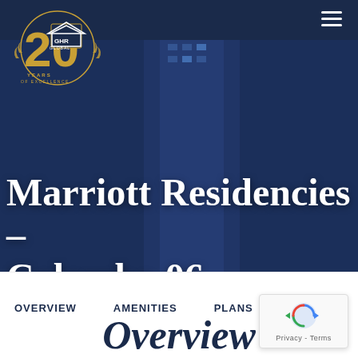[Figure (logo): GHR Global 20 Years of Excellence logo — gold '20' with laurel wreath and house icon]
Marriott Residencies – Colombo 06
VISIT WEBSITE →
OVERVIEW   AMENITIES   PLANS   GA...
Overview